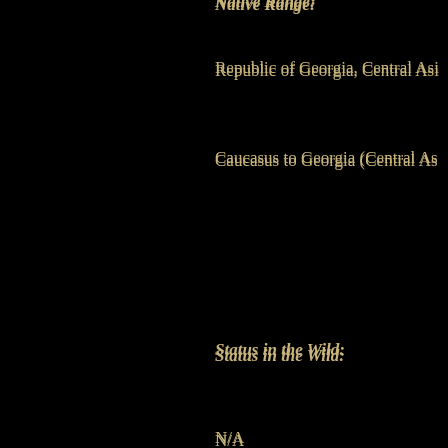Native Range:
Republic of Georgia, Central Asi
Caucasus to Georgia (Central As
Status in the Wild:
N/A
Commercial Availability:
Specialty (D.Kramb, 05-OCT-03
Sources Cited:
Info entered on 02-OCT-04 come 02-OCT-04)